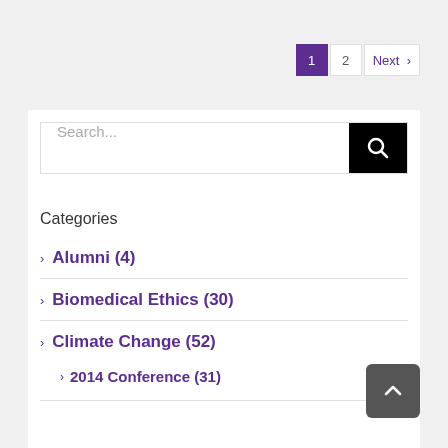1  2  Next >
Search...
Categories
> Alumni (4)
> Biomedical Ethics (30)
> Climate Change (52)
> 2014 Conference (31)